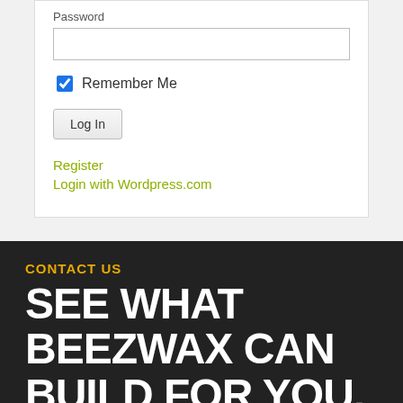Password
Remember Me
Log In
Register
Login with Wordpress.com
CONTACT US
SEE WHAT BEEZWAX CAN BUILD FOR YOU.